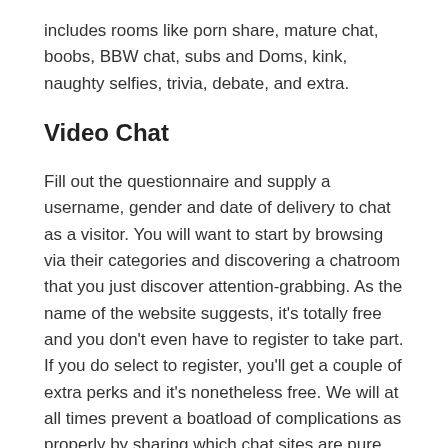includes rooms like porn share, mature chat, boobs, BBW chat, subs and Doms, kink, naughty selfies, trivia, debate, and extra.
Video Chat
Fill out the questionnaire and supply a username, gender and date of delivery to chat as a visitor. You will want to start by browsing via their categories and discovering a chatroom that you just discover attention-grabbing. As the name of the website suggests, it's totally free and you don't even have to register to take part. If you do select to register, you'll get a couple of extra perks and it's nonetheless free. We will at all times prevent a boatload of complications as properly by sharing which chat sites are pure trash.
Also, the video chatting service is on the market for PC and cellular gadgets. As a end outcome, it becomes simple for us to entry video chatting options. FreeChatNow also has numerous